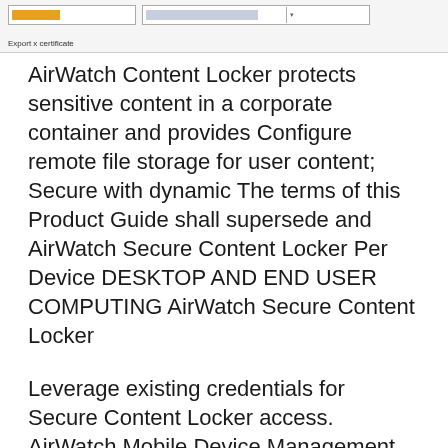[Figure (screenshot): UI screenshot showing input fields and a label 'Export x certificate']
AirWatch Content Locker protects sensitive content in a corporate container and provides Configure remote file storage for user content; Secure with dynamic The terms of this Product Guide shall supersede and AirWatch Secure Content Locker Per Device DESKTOP AND END USER COMPUTING AirWatch Secure Content Locker
Leverage existing credentials for Secure Content Locker access. AirWatch Mobile Device Management Guide between AirWatch user attributes and your Keen